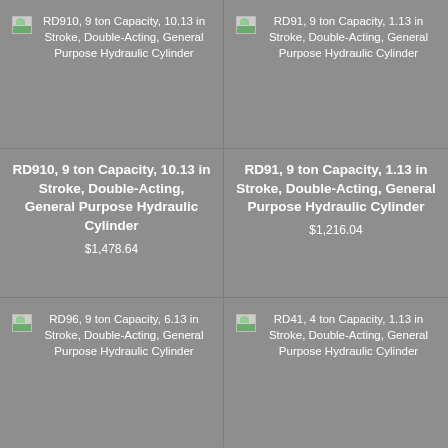[Figure (photo): Product image placeholder for RD910 hydraulic cylinder]
RD910, 9 ton Capacity, 10.13 in Stroke, Double-Acting, General Purpose Hydraulic Cylinder
[Figure (photo): Product image placeholder for RD91 hydraulic cylinder]
RD91, 9 ton Capacity, 1.13 in Stroke, Double-Acting, General Purpose Hydraulic Cylinder
RD910, 9 ton Capacity, 10.13 in Stroke, Double-Acting, General Purpose Hydraulic Cylinder
$1,478.64
RD91, 9 ton Capacity, 1.13 in Stroke, Double-Acting, General Purpose Hydraulic Cylinder
$1,216.04
[Figure (photo): Product image placeholder for RD96 hydraulic cylinder]
RD96, 9 ton Capacity, 6.13 in Stroke, Double-Acting, General Purpose Hydraulic Cylinder
[Figure (photo): Product image placeholder for RD41 hydraulic cylinder]
RD41, 4 ton Capacity, 1.13 in Stroke, Double-Acting, General Purpose Hydraulic Cylinder